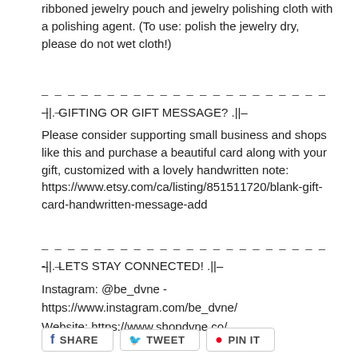ribboned jewelry pouch and jewelry polishing cloth with a polishing agent. (To use: polish the jewelry dry, please do not wet cloth!)
– – – – – – – – – – – – – – – – – – – – – – – –
-||. GIFTING OR GIFT MESSAGE? .||–
Please consider supporting small business and shops like this and purchase a beautiful card along with your gift, customized with a lovely handwritten note: https://www.etsy.com/ca/listing/851511720/blank-gift-card-handwritten-message-add
– – – – – – – – – – – – – – – – – – – – – – – –
-||. LETS STAY CONNECTED! .||–
Instagram: @be_dvne - https://www.instagram.com/be_dvne/
Website: https://www.shopdvne.co/
f SHARE   TWEET   PIN IT